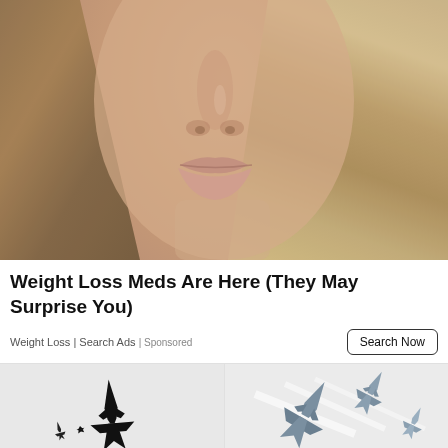[Figure (photo): Close-up photo of a woman's face (lower half) showing lips, nose, and blonde wavy hair against a light background]
Weight Loss Meds Are Here (They May Surprise You)
Weight Loss | Search Ads | Sponsored
[Figure (photo): Two-panel image showing military fighter jet silhouettes: left panel has a single black jet silhouette, right panel has multiple blue-grey jet silhouettes in formation]